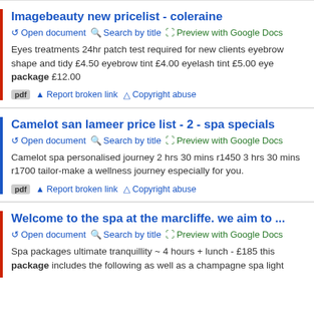Imagebeauty new pricelist - coleraine
Eyes treatments 24hr patch test required for new clients eyebrow shape and tidy £4.50 eyebrow tint £4.00 eyelash tint £5.00 eye package £12.00
Camelot san lameer price list - 2 - spa specials
Camelot spa personalised journey 2 hrs 30 mins r1450 3 hrs 30 mins r1700 tailor-make a wellness journey especially for you.
Welcome to the spa at the marcliffe. we aim to ...
Spa packages ultimate tranquillity ~ 4 hours + lunch - £185 this package includes the following as well as a champagne spa light